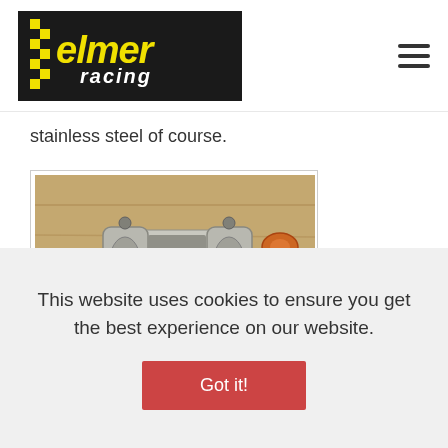[Figure (logo): Elmer Racing logo: black background box with yellow italic 'elmer' text above white italic 'racing' text, with checkered pattern on left]
stainless steel of course.
[Figure (photo): Close-up photo of a machined aluminum motorsport part (appears to be a clamp or bracket) on a wooden surface]
This website uses cookies to ensure you get the best experience on our website.
Got it!